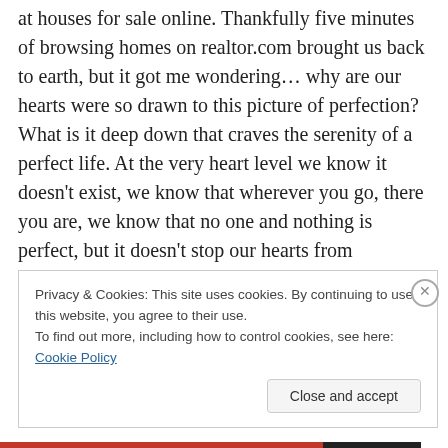at houses for sale online. Thankfully five minutes of browsing homes on realtor.com brought us back to earth, but it got me wondering… why are our hearts were so drawn to this picture of perfection? What is it deep down that craves the serenity of a perfect life. At the very heart level we know it doesn't exist, we know that wherever you go, there you are, we know that no one and nothing is perfect, but it doesn't stop our hearts from dreaming about… from seeking it, from wanting it.
Privacy & Cookies: This site uses cookies. By continuing to use this website, you agree to their use.
To find out more, including how to control cookies, see here: Cookie Policy